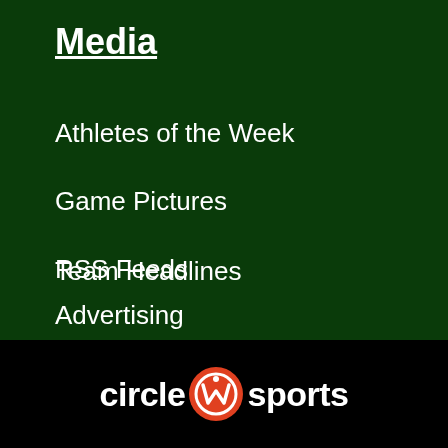Media
Athletes of the Week
Game Pictures
RSS Feeds
Team Headlines
Advertising
[Figure (logo): Circle Sports logo with orange circular icon containing a stylized W, white text reading 'circle sports' on black background]